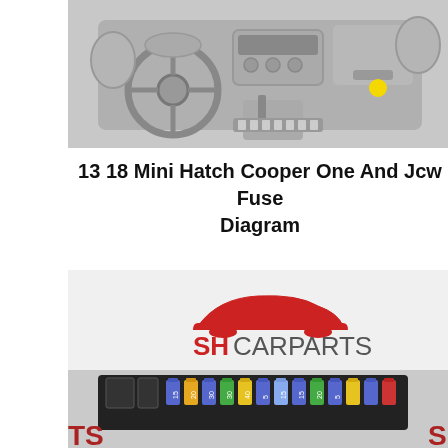[Figure (illustration): Illustration of a Mini Cooper interior dashboard viewed from the driver's seat, showing steering wheel, center console, radio, gear shifter, and a yellow dot indicator on the passenger side dashboard area.]
13 18 Mini Hatch Cooper One And Jcw Fuse Diagram
[Figure (photo): Photo of a SH CARPARTS branded fuse box component for a Mini Cooper, showing a black plastic fuse box with multiple colored fuses (blue, yellow, green) inserted in rows, with the SH CARPARTS logo (red car silhouette with 'SH CARPARTS' text) visible above it.]